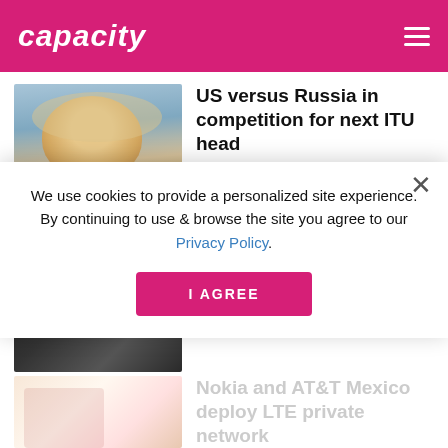capacity
[Figure (photo): Portrait photo of a smiling blonde woman in professional attire]
US versus Russia in competition for next ITU head
August 31, 2022
[Figure (photo): Dark photo of a person in a suit]
Wyld to drive IoT market with Miromico partnership
We use cookies to provide a personalized site experience. By continuing to use & browse the site you agree to our Privacy Policy.
[Figure (photo): Light colored photo with Nokia and AT&T Mexico text]
Nokia and AT&T Mexico deploy LTE private network